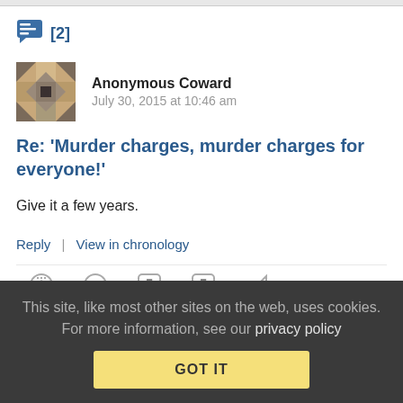[2]
Anonymous Coward   July 30, 2015 at 10:46 am
Re: 'Murder charges, murder charges for everyone!'
Give it a few years.
Reply | View in chronology
This site, like most other sites on the web, uses cookies. For more information, see our privacy policy
GOT IT